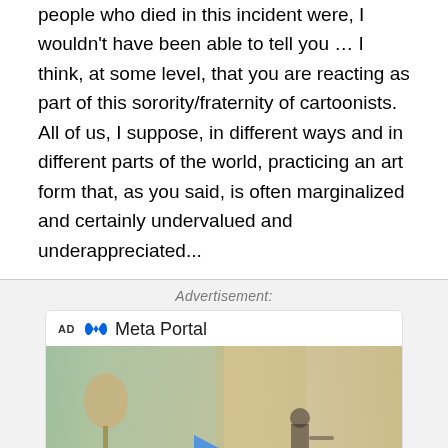people who died in this incident were, I wouldn't have been able to tell you … I think, at some level, that you are reacting as part of this sorority/fraternity of cartoonists. All of us, I suppose, in different ways and in different parts of the world, practicing an art form that, as you said, is often marginalized and certainly undervalued and underappreciated...
[Figure (other): Meta Portal advertisement with AD label, Meta Portal logo, and a video thumbnail showing a child playing in a room with a blue play button overlay]